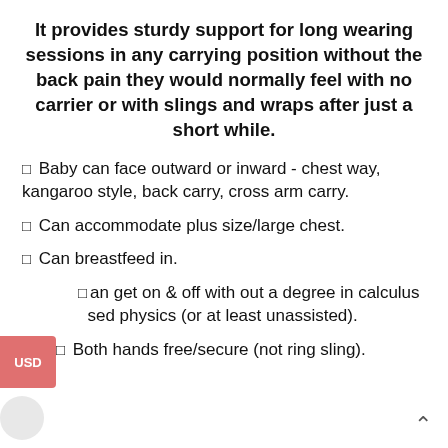It provides sturdy support for long wearing sessions in any carrying position without the back pain they would normally feel with no carrier or with slings and wraps after just a short while.
Baby can face outward or inward - chest way, kangaroo style, back carry, cross arm carry.
Can accommodate plus size/large chest.
Can breastfeed in.
Can get on & off with out a degree in calculus based physics (or at least unassisted).
Both hands free/secure (not ring sling).